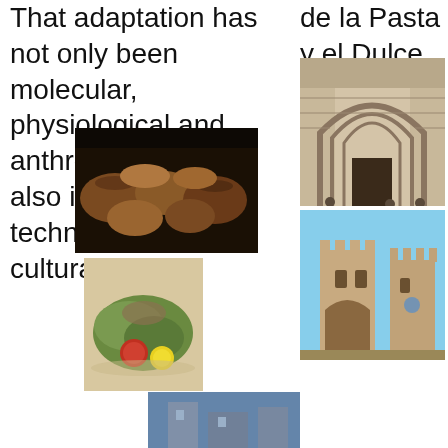That adaptation has not only been molecular, physiological and anthropometric, but also imaginative, technological and cultural.
Gastronomía de la Pasta y el Dulce.
[Figure (photo): Gothic arched church doorway with ornate stone carvings]
[Figure (photo): Various bread loaves and food items in clay pots on a dark market table]
[Figure (photo): Medieval stone castle tower with battlements under blue sky]
[Figure (photo): Traditional food dishes with vegetables and tomatoes on a plate]
[Figure (photo): Partial view of a blue-toned image at bottom of page]